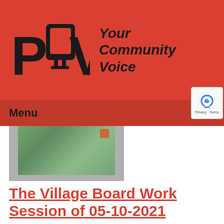[Figure (logo): PCTV logo with TV screen icon and tagline 'Your Community Voice' on red background]
Menu ☰
[Figure (screenshot): Thumbnail image showing a satellite/aerial map view with gray borders]
The Village Board Work Session of 05-10-2021
Airdate: 05/10/2021
Guests: Rich Williams,